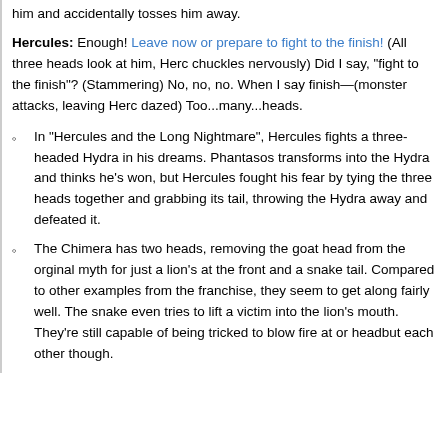him and accidentally tosses him away.
Hercules: Enough! Leave now or prepare to fight to the finish! (All three heads look at him, Herc chuckles nervously) Did I say, "fight to the finish"? (Stammering) No, no, no. When I say finish—(monster attacks, leaving Herc dazed) Too...many...heads.
In "Hercules and the Long Nightmare", Hercules fights a three-headed Hydra in his dreams. Phantasos transforms into the Hydra and thinks he's won, but Hercules fought his fear by tying the three heads together and grabbing its tail, throwing the Hydra away and defeated it.
The Chimera has two heads, removing the goat head from the orginal myth for just a lion's at the front and a snake tail. Compared to other examples from the franchise, they seem to get along fairly well. The snake even tries to lift a victim into the lion's mouth. They're still capable of being tricked to blow fire at or headbut each other though.